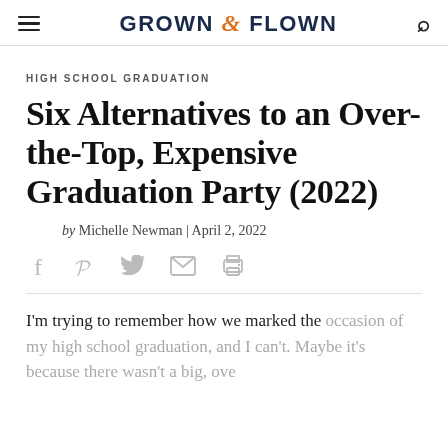GROWN & FLOWN
HIGH SCHOOL GRADUATION
Six Alternatives to an Over-the-Top, Expensive Graduation Party (2022)
by Michelle Newman | April 2, 2022
I'm trying to remember how we marked the occasion of my high school graduation, and I can't. Maybe it's because there wasn't a big, over-the-top...